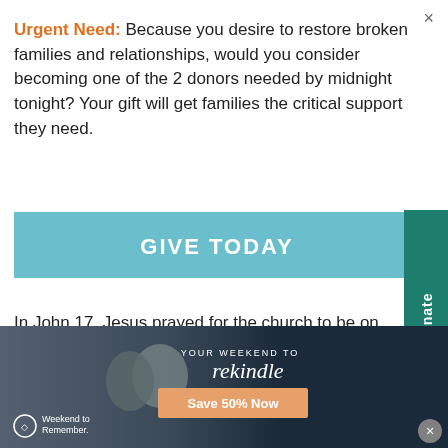×
Urgent Need: Because you desire to restore broken families and relationships, would you consider becoming one of the 2 donors needed by midnight tonight? Your gift will get families the critical support they need.
[Figure (other): GIVE TODAY button — teal/light-blue rectangle with white bold uppercase text 'GIVE TODAY']
[Figure (other): Donate tab — dark teal vertical tab on right edge with rotated text 'Donate' and heart icon]
In John 17, Jesus prayed for the church to be on… He realized that when we are in isolation, we can be convinced of anything.
[Figure (other): Advertisement banner: dark navy background with couple photo on left. Text reads 'YOUR WEEKEND TO rekindle' with 'Save 50% Now' button in orange. Weekend to Remember logo bottom left. Close button bottom right.]